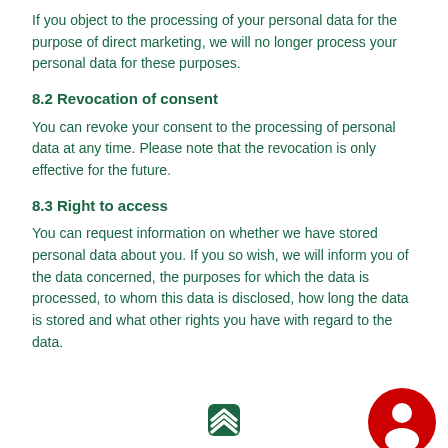If you object to the processing of your personal data for the purpose of direct marketing, we will no longer process your personal data for these purposes.
8.2 Revocation of consent
You can revoke your consent to the processing of personal data at any time. Please note that the revocation is only effective for the future.
8.3 Right to access
You can request information on whether we have stored personal data about you. If you so wish, we will inform you of the data concerned, the purposes for which the data is processed, to whom this data is disclosed, how long the data is stored and what other rights you have with regard to the data.
[Figure (logo): Layered chevron logo icon in green]
[Figure (illustration): Red circular user/person icon]